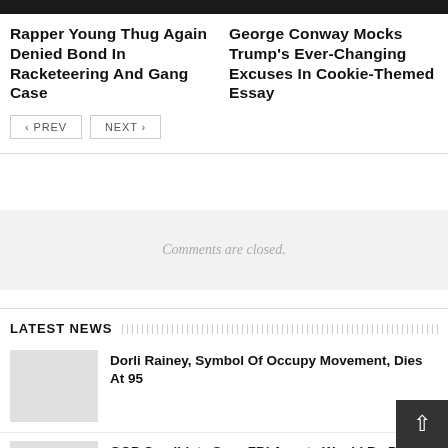Rapper Young Thug Again Denied Bond In Racketeering And Gang Case
George Conway Mocks Trump’s Ever-Changing Excuses In Cookie-Themed Essay
‹ PREV   NEXT ›
Comments are closed.
LATEST NEWS
Dorli Rainey, Symbol Of Occupy Movement, Dies At 95
GOP Candidate Says FBI Agents Would Be Put In ‘Body…